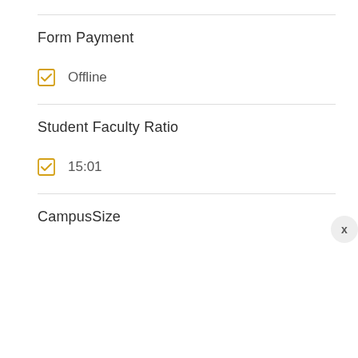Form Payment
Offline
Student Faculty Ratio
15:01
CampusSize